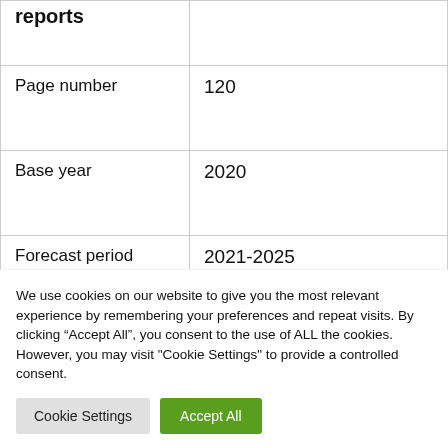| reports |  |
| Page number | 120 |
| Base year | 2020 |
| Forecast period | 2021-2025 |
We use cookies on our website to give you the most relevant experience by remembering your preferences and repeat visits. By clicking “Accept All”, you consent to the use of ALL the cookies. However, you may visit "Cookie Settings" to provide a controlled consent.